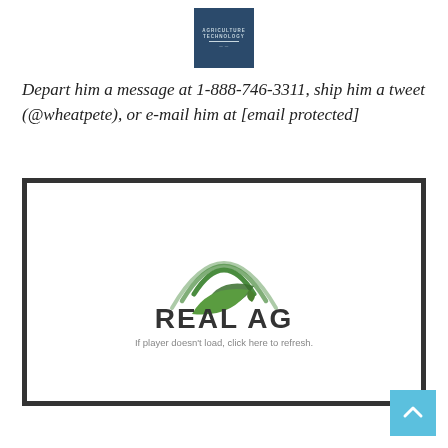[Figure (logo): Agriculture Technology logo — dark blue square with text 'AGRICULTURE TECHNOLOGY' and decorative lines]
Depart him a message at 1-888-746-3311, ship him a tweet (@wheatpete), or e-mail him at [email protected]
[Figure (logo): Real Ag logo — green leaf and wifi arc symbol above bold text 'REAL AG', with caption 'If player doesn't load, click here to refresh.']